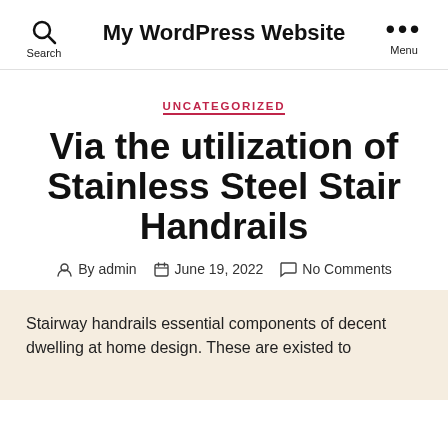My WordPress Website
UNCATEGORIZED
Via the utilization of Stainless Steel Stair Handrails
By admin   June 19, 2022   No Comments
Stairway handrails essential components of decent dwelling at home design. These are existed to